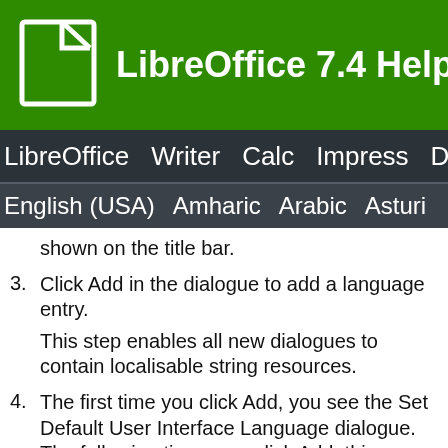LibreOffice 7.4 Help
LibreOffice Writer Calc Impress Dra
English (USA) Amharic Arabic Asturi
shown on the title bar.
3. Click Add in the dialogue to add a language entry.
This step enables all new dialogues to contain localisable string resources.
4. The first time you click Add, you see the Set Default User Interface Language dialogue. The following times you click Add, this dialogue has the name Add User Interface Language.
You can also change the default language in the Manage User Interface Language